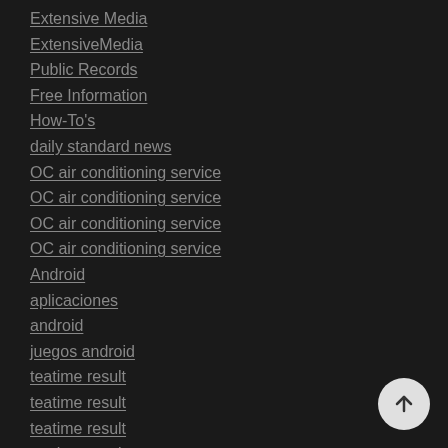Extensive Media
ExtensiveMedia
Public Records
Free Information
How-To's
daily standard news
OC air conditioning service
OC air conditioning service
OC air conditioning service
OC air conditioning service
Android
aplicaciones
android
juegos android
teatime result
teatime result
teatime result
teatime result